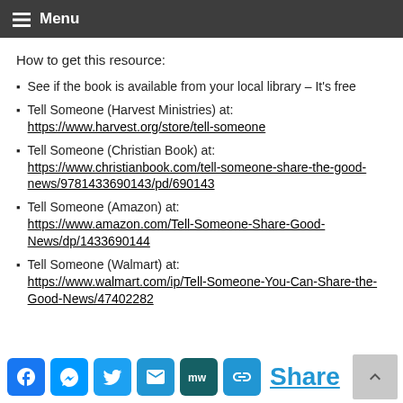Menu
How to get this resource:
See if the book is available from your local library – It's free
Tell Someone (Harvest Ministries) at: https://www.harvest.org/store/tell-someone
Tell Someone (Christian Book) at: https://www.christianbook.com/tell-someone-share-the-good-news/9781433690143/pd/690143
Tell Someone (Amazon) at: https://www.amazon.com/Tell-Someone-Share-Good-News/dp/1433690144
Tell Someone (Walmart) at: https://www.walmart.com/ip/Tell-Someone-You-Can-Share-the-Good-News/47402282